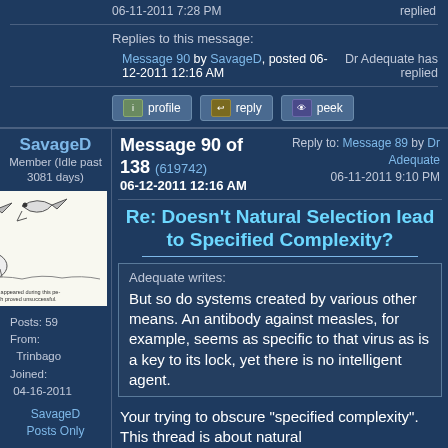06-11-2011 7:28 PM   replied
Replies to this message:
Message 90 by SavageD, posted 06-12-2011 12:16 AM   Dr Adequate has replied
profile   reply   peek
SavageD
Member (Idle past 3081 days)
[Figure (illustration): Sketch illustration of birds and animals with caption text]
Posts: 59
From: Trinbago
Joined: 04-16-2011
Message 90 of 138 (619742)
06-12-2011 12:16 AM
Reply to: Message 89 by Dr Adequate
06-11-2011 9:10 PM
Re: Doesn't Natural Selection lead to Specified Complexity?
Adequate writes:
But so do systems created by various other means. An antibody against measles, for example, seems as specific to that virus as is a key to its lock, yet there is no intelligent agent.
Your trying to obscure "specified complexity". This thread is about natural
SavageD
Posts Only